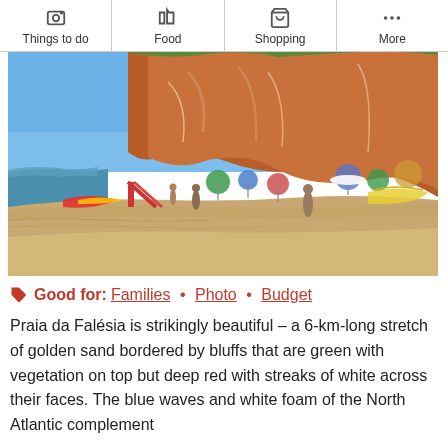Things to do | Food | Shopping | More
[Figure (photo): Beach photo of Praia da Falésia showing golden sand, red-orange sandstone bluffs, beach-goers with umbrellas and water inflatables, clear blue sky]
Good for: Families • Photo • Budget
Praia da Falésia is strikingly beautiful – a 6-km-long stretch of golden sand bordered by bluffs that are green with vegetation on top but deep red with streaks of white across their faces. The blue waves and white foam of the North Atlantic complement